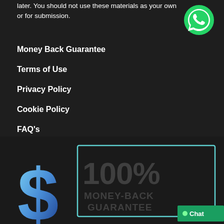later. You should not use these materials as your own or for submission.
[Figure (logo): WhatsApp green logo icon in top right corner]
Money Back Guarantee
Terms of Use
Privacy Policy
Cookie Policy
FAQ's
Why US
[Figure (infographic): 100% Money-Back Guarantee badge with large blue dollar sign on left and teal-bordered box showing '100% MONEY-BACK GUARANTEE' text in dark grey, with a green Chat button in bottom right]